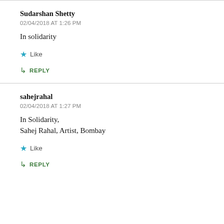Sudarshan Shetty
02/04/2018 AT 1:26 PM
In solidarity
Like
REPLY
sahejrahal
02/04/2018 AT 1:27 PM
In Solidarity,
Sahej Rahal, Artist, Bombay
Like
REPLY